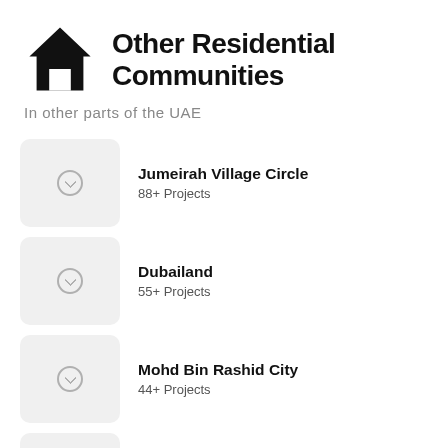Other Residential Communities
In other parts of the UAE
Jumeirah Village Circle
88+ Projects
Dubailand
55+ Projects
Mohd Bin Rashid City
44+ Projects
DAMAC Hills